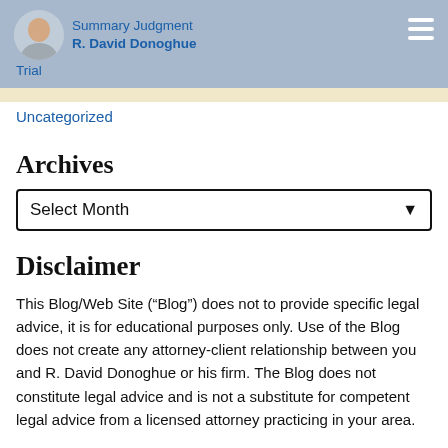Summary Judgment R. David Donoghue Trial
Uncategorized
Archives
Select Month
Disclaimer
This Blog/Web Site (“Blog”) does not to provide specific legal advice, it is for educational purposes only. Use of the Blog does not create any attorney-client relationship between you and R. David Donoghue or his firm. The Blog does not constitute legal advice and is not a substitute for competent legal advice from a licensed attorney practicing in your area.